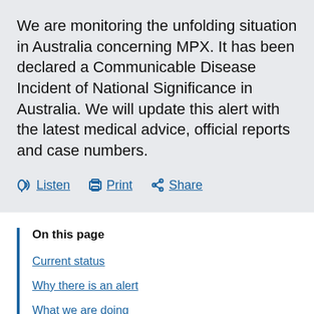We are monitoring the unfolding situation in Australia concerning MPX. It has been declared a Communicable Disease Incident of National Significance in Australia. We will update this alert with the latest medical advice, official reports and case numbers.
Listen
Print
Share
On this page
Current status
Why there is an alert
What we are doing
Find out more